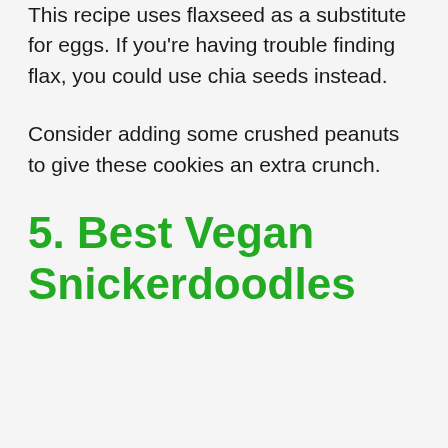This recipe uses flaxseed as a substitute for eggs. If you're having trouble finding flax, you could use chia seeds instead.
Consider adding some crushed peanuts to give these cookies an extra crunch.
5. Best Vegan Snickerdoodles